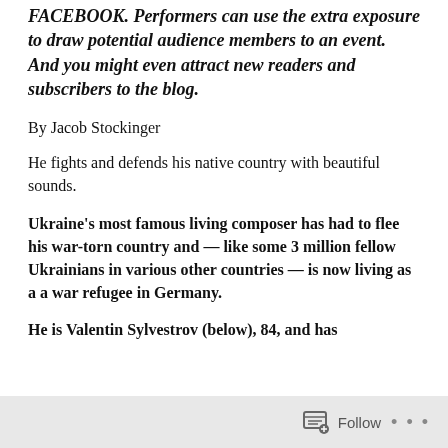FACEBOOK. Performers can use the extra exposure to draw potential audience members to an event. And you might even attract new readers and subscribers to the blog.
By Jacob Stockinger
He fights and defends his native country with beautiful sounds.
Ukraine's most famous living composer has had to flee his war-torn country and — like some 3 million fellow Ukrainians in various other countries — is now living as a a war refugee in Germany.
He is Valentin Sylvestrov (below), 84, and has
Follow